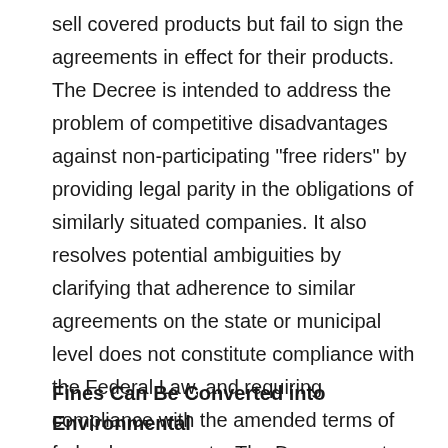sell covered products but fail to sign the agreements in effect for their products. The Decree is intended to address the problem of competitive disadvantages against non-participating "free riders" by providing legal parity in the obligations of similarly situated companies. It also resolves potential ambiguities by clarifying that adherence to similar agreements on the state or municipal level does not constitute compliance with the Federal Law, and requiring compliance with the amended terms of federal agreements. The Decree went into effect upon its publication in the Official Gazette.
Fines Can Be Converted into Environmental